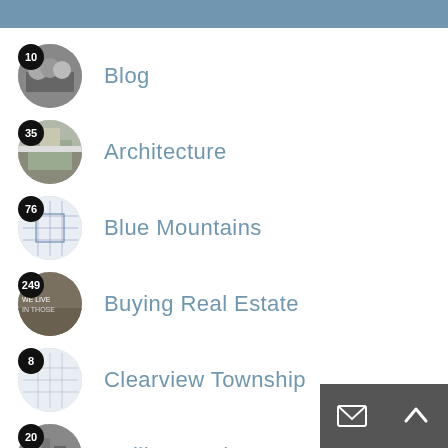10 Blog
35 Architecture
76 Blue Mountains
249 Buying Real Estate
8 Clearview Township
20 Collingwood